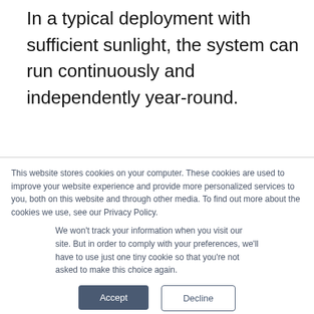In a typical deployment with sufficient sunlight, the system can run continuously and independently year-round.
This website stores cookies on your computer. These cookies are used to improve your website experience and provide more personalized services to you, both on this website and through other media. To find out more about the cookies we use, see our Privacy Policy.
We won't track your information when you visit our site. But in order to comply with your preferences, we'll have to use just one tiny cookie so that you're not asked to make this choice again.
Accept
Decline